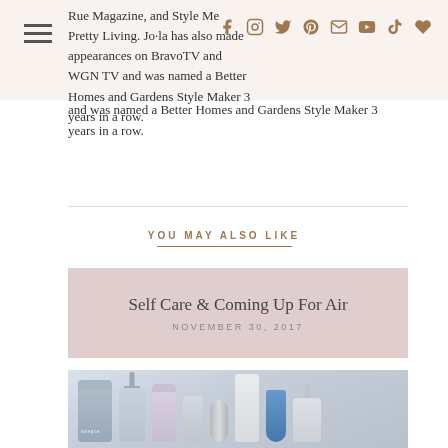Rue Magazine, and Style Me Pretty Living. Joila has also made appearances on BravoTV and WGN TV and was named a Better Homes and Gardens Style Maker 3 years in a row.
YOU MAY ALSO LIKE
Self Care & Coming Up For Air
NOVEMBER 30, 2017
[Figure (photo): Photo showing skincare and beauty products including NuFace device, pump bottles, tubes, and various skincare containers arranged together]